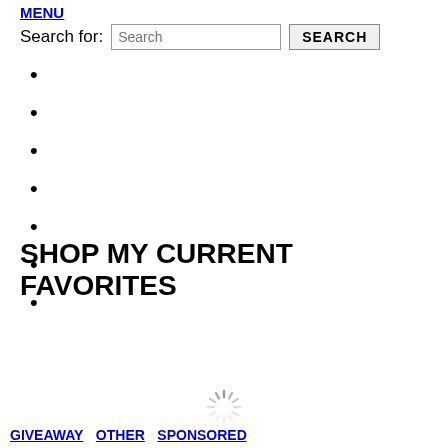MENU
Search for: [Search] SEARCH
SHOP MY CURRENT FAVORITES
[Figure (other): Loading spinner icon]
GIVEAWAY  OTHER  SPONSORED